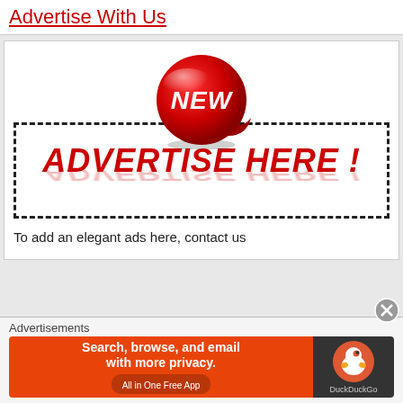Advertise With Us
[Figure (infographic): Advertisement placeholder graphic with a red 'NEW' sticker badge and dashed border box containing 'ADVERTISE HERE !' text in bold red with reflection effect]
To add an elegant ads here, contact us
Advertisements
[Figure (infographic): DuckDuckGo advertisement banner: orange left side with 'Search, browse, and email with more privacy. All in One Free App' and dark right side with DuckDuckGo logo]